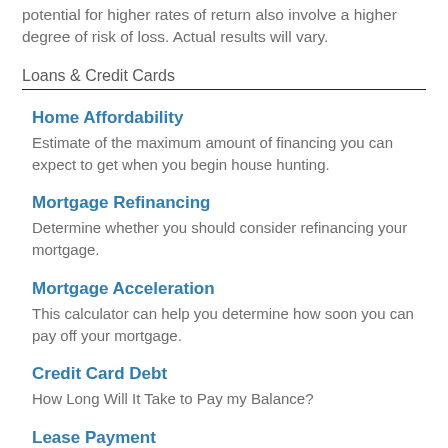potential for higher rates of return also involve a higher degree of risk of loss. Actual results will vary.
Loans & Credit Cards
Home Affordability
Estimate of the maximum amount of financing you can expect to get when you begin house hunting.
Mortgage Refinancing
Determine whether you should consider refinancing your mortgage.
Mortgage Acceleration
This calculator can help you determine how soon you can pay off your mortgage.
Credit Card Debt
How Long Will It Take to Pay my Balance?
Lease Payment
How much would your monthly lease payment be?